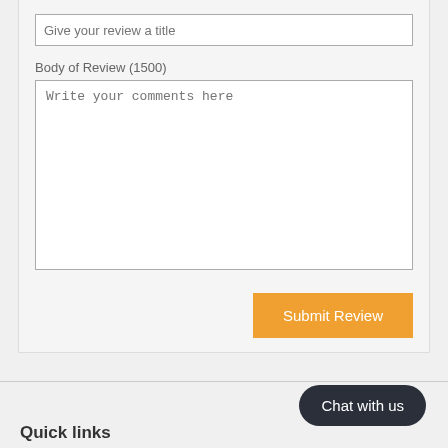[Figure (screenshot): A web form input field with placeholder text 'Give your review a title']
Body of Review (1500)
[Figure (screenshot): A large textarea input with placeholder text 'Write your comments here']
[Figure (screenshot): An orange 'Submit Review' button]
[Figure (screenshot): A dark rounded 'Chat with us' button]
Quick links